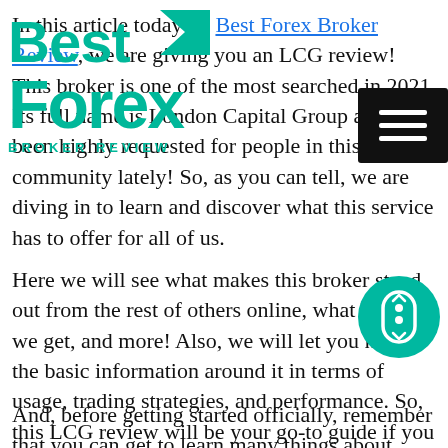[Figure (logo): Best Forex Broker Review logo — teal/green text reading 'Best Forex' with arrow graphic and 'BROKER REVIEW' subtitle]
In this article today on Best Forex Broker Review, we are giving you an LCG review! This broker is one of the most searched in 2021. Its full name is London Capital Group and has been highly requested for people in this community lately! So, as you can tell, we are diving in to learn and discover what this service has to offer for all of us.
Here we will see what makes this broker stand out from the rest of others online, what benefits we get, and more! Also, we will let you know the basic information around it in terms of usage, trading strategies, and performance. So, this LCG review will be your go-to guide if you are looking to start using this broker anytime soon.
And, before getting started officially, remember that you can get to learn many things about Forex from our